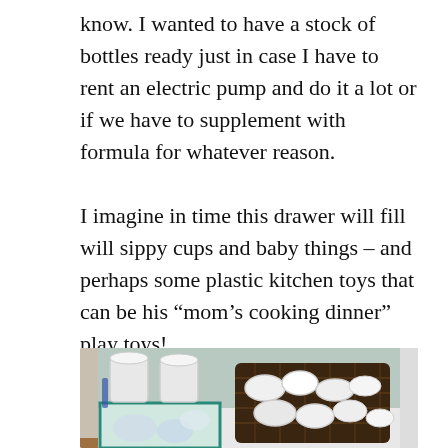know. I wanted to have a stock of bottles ready just in case I have to rent an electric pump and do it a lot or if we have to supplement with formula for whatever reason.
I imagine in time this drawer will fill will sippy cups and baby things – and perhaps some plastic kitchen toys that can be his "mom's cooking dinner" play toys!
[Figure (photo): An open kitchen drawer containing baby bottles, jar lids, a dark wicker basket filled with plastic bottle caps and rings, and a teal-bordered tray with more bottle components. The drawer interior is light blue-green.]